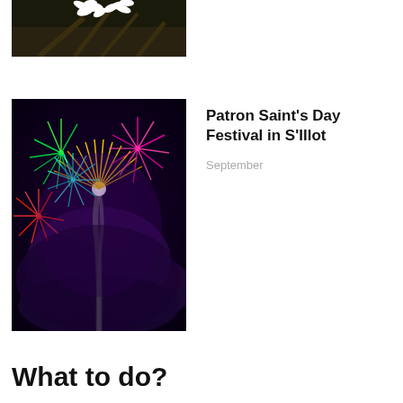[Figure (photo): Partial view of white flowers on branches against dark background, cropped at bottom]
[Figure (photo): Fireworks display at night with colorful bursts of red, green, gold and pink against a dark purple smoky sky]
Patron Saint's Day Festival in S'Illot
September
What to do?